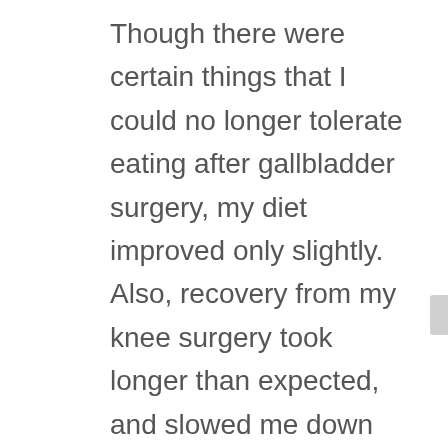Though there were certain things that I could no longer tolerate eating after gallbladder surgery, my diet improved only slightly.  Also, recovery from my knee surgery took longer than expected, and slowed me down considerably and there was noticeable weight gain.  Not long after that, I worked in a call center for 2 years, where I sat for hours with very little activity and an undisciplined diet.  I was beginning to feel like a slug.  These combined factors, as well as getting older, were absolutely taking a toll on my body.  I knew I needed to make some necessary changes to take better care of myself.